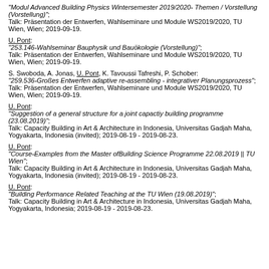"Modul Advanced Building Physics Wintersemester 2019/2020- Themen / Vorstellung (Vorstellung)"; Talk: Präsentation der Entwerfen, Wahlseminare und Module WS2019/2020, TU Wien, Wien; 2019-09-19.
U. Pont: "253.146-Wahlseminar Bauphysik und Bauökologie (Vorstellung)"; Talk: Präsentation der Entwerfen, Wahlseminare und Module WS2019/2020, TU Wien, Wien; 2019-09-19.
S. Swoboda, A. Jonas, U. Pont, K. Tavoussi Tafreshi, P. Schober: "259.536-Großes Entwerfen adaptive re-assembling - integrativer Planungsprozess"; Talk: Präsentation der Entwerfen, Wahlseminare und Module WS2019/2020, TU Wien, Wien; 2019-09-19.
U. Pont: "Suggestion of a general structure for a joint capactiy building programme (23.08.2019)"; Talk: Capacity Building in Art & Architecture in Indonesia, Universitas Gadjah Maha, Yogyakarta, Indonesia (invited); 2019-08-19 - 2019-08-23.
U. Pont: "Course-Examples from the Master ofBuilding Science Programme 22.08.2019 || TU Wien"; Talk: Capacity Building in Art & Architecture in Indonesia, Universitas Gadjah Maha, Yogyakarta, Indonesia (invited); 2019-08-19 - 2019-08-23.
U. Pont: "Building Performance Related Teaching at the TU Wien (19.08.2019)"; Talk: Capacity Building in Art & Architecture in Indonesia, Universitas Gadjah Maha, Yogyakarta, Indonesia; 2019-08-19 - 2019-08-23.